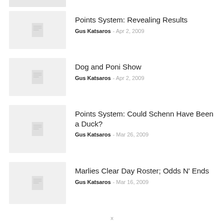Points System: Revealing Results — Gus Katsaros — Apr 2, 2009
Dog and Poni Show — Gus Katsaros — Apr 2, 2009
Points System: Could Schenn Have Been a Duck? — Gus Katsaros — Mar 26, 2009
Marlies Clear Day Roster; Odds N' Ends — Gus Katsaros — Mar 16, 2009
x